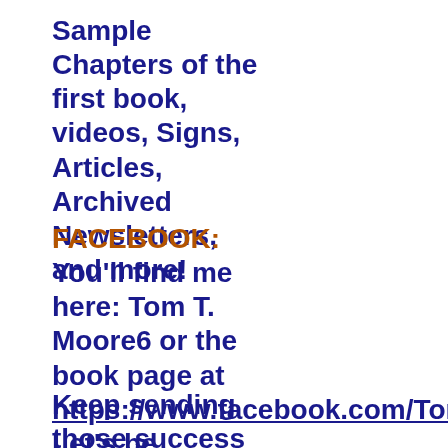Sample Chapters of the first book, videos, Signs, Articles, Archived Newsletters, and more!
FACEBOOK: You’ll find me here: Tom T. Moore6 or the book page at https://www.facebook.com/TomTMoore6. Let’s be friends!
Keep sending those success stories in...